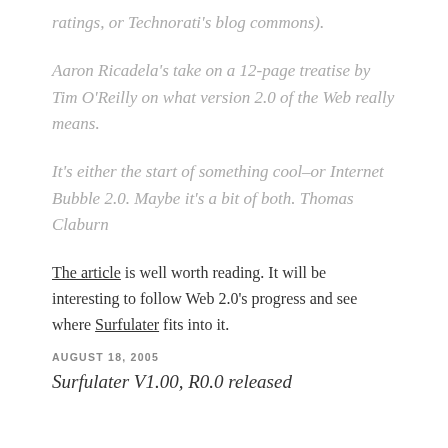ratings, or Technorati's blog commons).
Aaron Ricadela's take on a 12-page treatise by Tim O'Reilly on what version 2.0 of the Web really means.
It's either the start of something cool–or Internet Bubble 2.0. Maybe it's a bit of both. Thomas Claburn
The article is well worth reading. It will be interesting to follow Web 2.0's progress and see where Surfulater fits into it.
AUGUST 18, 2005
Surfulater V1.00, R0.0 released